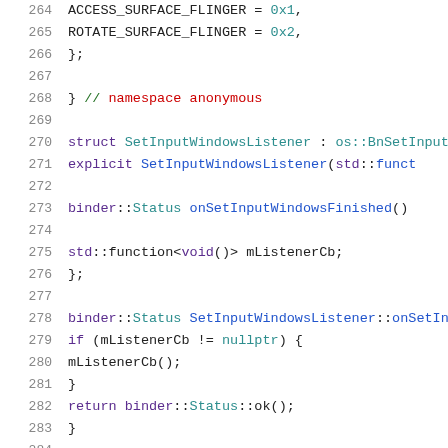[Figure (screenshot): Source code snippet showing C++ lines 264-285 with syntax highlighting. Lines include ACCESS_SURFACE_FLINGER and ROTATE_SURFACE_FLINGER enum values, namespace anonymous closing brace, SetInputWindowsListener struct definition, explicit constructor, binder::Status onSetInputWindowsFinished method, std::function member, and binder::Status implementation with mListenerCb callback.]